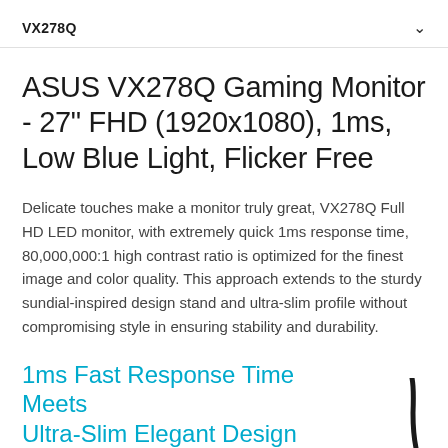VX278Q
ASUS VX278Q Gaming Monitor - 27" FHD (1920x1080), 1ms, Low Blue Light, Flicker Free
Delicate touches make a monitor truly great, VX278Q Full HD LED monitor, with extremely quick 1ms response time, 80,000,000:1 high contrast ratio is optimized for the finest image and color quality. This approach extends to the sturdy sundial-inspired design stand and ultra-slim profile without compromising style in ensuring stability and durability.
1ms Fast Response Time Meets Ultra-Slim Elegant Design